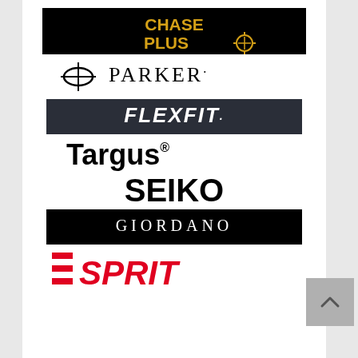[Figure (logo): Chase Plus logo: black background with gold/yellow text 'CHASE PLUS' and a crosshair plus symbol]
[Figure (logo): Parker pen logo: black oval crosshair symbol with 'PARKER.' text in elegant serif capitals]
[Figure (logo): Flexfit logo: dark navy background with white italic bold 'FLEXFIT.' text]
[Figure (logo): Targus logo: black bold text 'Targus' with registered trademark symbol]
[Figure (logo): Seiko logo: bold black uppercase 'SEIKO' text]
[Figure (logo): Giordano logo: black rectangle with white spaced uppercase 'GIORDANO' text]
[Figure (logo): Esprit logo: red stylized 'ESPRIT' text with distinctive E made of horizontal bars]